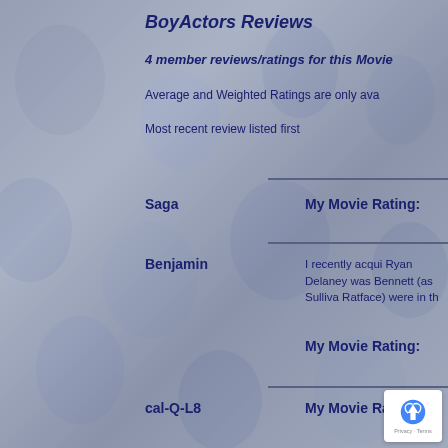BoyActors Reviews
4 member reviews/ratings for this Movie
Average and Weighted Ratings are only ava
Most recent review listed first
Saga
My Movie Rating:
Benjamin
I recently acqui Ryan Delaney was Bennett (as Sulliva Ratface) were in th
My Movie Rating:
cal-Q-L8
My Movie Rating: